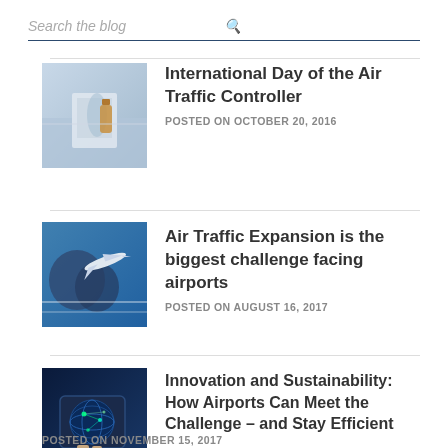Search the blog
International Day of the Air Traffic Controller
POSTED ON OCTOBER 20, 2016
Air Traffic Expansion is the biggest challenge facing airports
POSTED ON AUGUST 16, 2017
Innovation and Sustainability: How Airports Can Meet the Challenge – and Stay Efficient
POSTED ON NOVEMBER 15, 2017